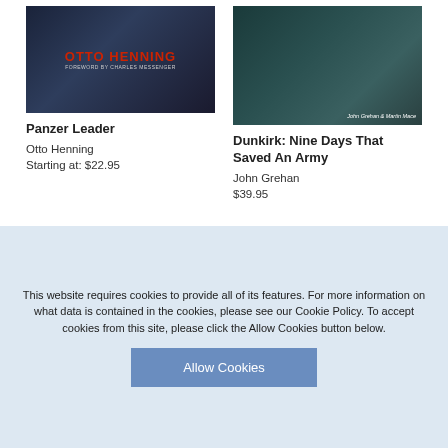[Figure (photo): Book cover for Panzer Leader by Otto Henning, dark blue/black background with red title text]
[Figure (photo): Book cover for Dunkirk: Nine Days That Saved An Army by John Grehan and Martin Mace, teal/navy maritime scene]
Panzer Leader
Otto Henning
Starting at: $22.95
Dunkirk: Nine Days That Saved An Army
John Grehan
$39.95
[Figure (photo): Partial view of stacked books, cropped at bottom of page]
This website requires cookies to provide all of its features. For more information on what data is contained in the cookies, please see our Cookie Policy. To accept cookies from this site, please click the Allow Cookies button below.
Allow Cookies